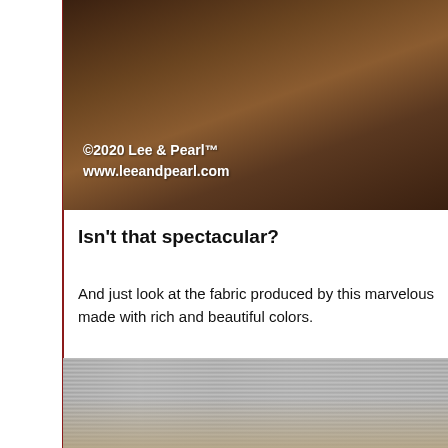[Figure (photo): Close-up photograph of a loom or weaving machinery with dark brown metallic background, showing industrial textile equipment. Watermark text reads: ©2020 Lee & Pearl™ www.leeandpearl.com]
Isn't that spectacular?
And just look at the fabric produced by this marvelous made with rich and beautiful colors.
[Figure (photo): Close-up photograph of loom threads/warp threads showing fine parallel gray/silver strands of thread on a loom, with cream/beige woven fabric visible below and wooden loom structure in the background.]